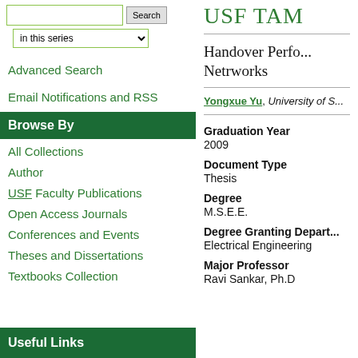in this series (dropdown)
Advanced Search
Email Notifications and RSS
Browse By
All Collections
Author
USF Faculty Publications
Open Access Journals
Conferences and Events
Theses and Dissertations
Textbooks Collection
Useful Links
USF TA...
Handover Perfo... Netrworks
Yongxue Yu, University of S...
Graduation Year
2009
Document Type
Thesis
Degree
M.S.E.E.
Degree Granting Depart...
Electrical Engineering
Major Professor
Ravi Sankar, Ph.D